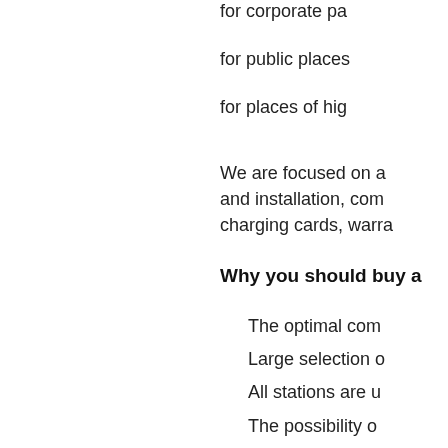for corporate pa
for public places
for places of hig
We are focused on an and installation, com charging cards, warra
Why you should buy a
The optimal com
Large selection o
All stations are u
The possibility o
The ability to cre several addition
All documentati
Special conditio work, installatio